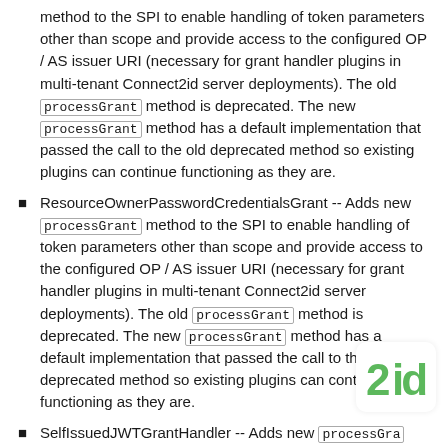method to the SPI to enable handling of token parameters other than scope and provide access to the configured OP / AS issuer URI (necessary for grant handler plugins in multi-tenant Connect2id server deployments). The old processGrant method is deprecated. The new processGrant method has a default implementation that passed the call to the old deprecated method so existing plugins can continue functioning as they are.
ResourceOwnerPasswordCredentialsGrant -- Adds new processGrant method to the SPI to enable handling of token parameters other than scope and provide access to the configured OP / AS issuer URI (necessary for grant handler plugins in multi-tenant Connect2id server deployments). The old processGrant method is deprecated. The new processGrant method has a default implementation that passed the call to the old deprecated method so existing plugins can continue functioning as they are.
SelfIssuedJWTGrantHandler -- Adds new processGrant method to the SPI to enable handling of token parameters